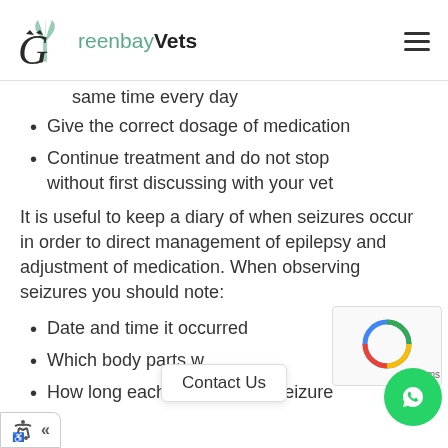Greenbay Vets
same time every day
Give the correct dosage of medication
Continue treatment and do not stop without first discussing with your vet
It is useful to keep a diary of when seizures occur in order to direct management of epilepsy and adjustment of medication. When observing seizures you should note:
Date and time it occurred
Which body parts w[ere affected]
How long each phase of the seizure [lasted]